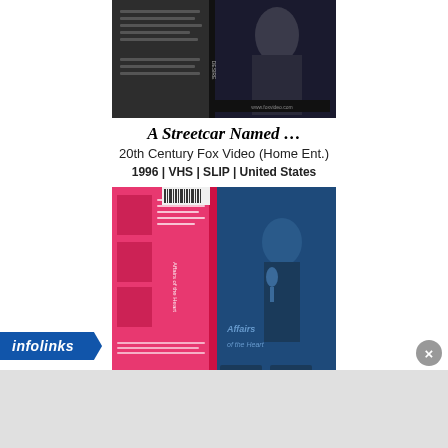[Figure (photo): VHS cover for A Streetcar Named Desire - black and white image showing two people]
A Streetcar Named …
20th Century Fox Video (Home Ent.)
1996 | VHS | SLIP | United States
[Figure (photo): VHS cover for Affairs of the Heart - pink and blue cover with person]
Affairs of the Heart
York Entertainment (Home Video)